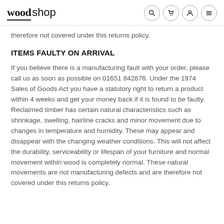wood shop
therefore not covered under this returns policy.
ITEMS FAULTY ON ARRIVAL
If you believe there is a manufacturing fault with your order, please call us as soon as possible on 01651 842876. Under the 1974 Sales of Goods Act you have a statutory right to return a product within 4 weeks and get your money back if it is found to be faulty. Reclaimed timber has certain natural characteristics such as shrinkage, swelling, hairline cracks and minor movement due to changes in temperature and humidity. These may appear and disappear with the changing weather conditions. This will not affect the durability, serviceability or lifespan of your furniture and normal movement within wood is completely normal. These natural movements are not manufacturing defects and are therefore not covered under this returns policy.